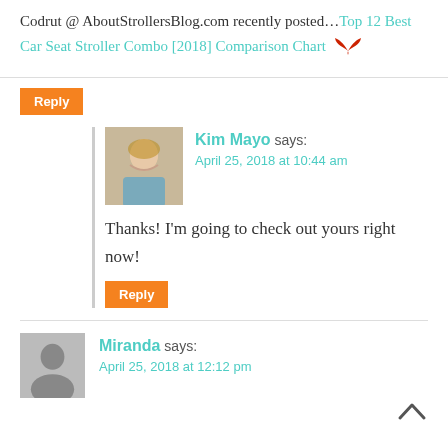Codrut @ AboutStrollersBlog.com recently posted...Top 12 Best Car Seat Stroller Combo [2018] Comparison Chart 🦅
Reply
Kim Mayo says:
April 25, 2018 at 10:44 am
Thanks! I'm going to check out yours right now!
Reply
Miranda says:
April 25, 2018 at 12:12 pm